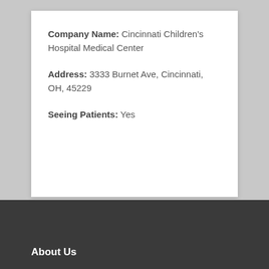Company Name: Cincinnati Children's Hospital Medical Center
Address: 3333 Burnet Ave, Cincinnati, OH, 45229
Seeing Patients: Yes
About Us